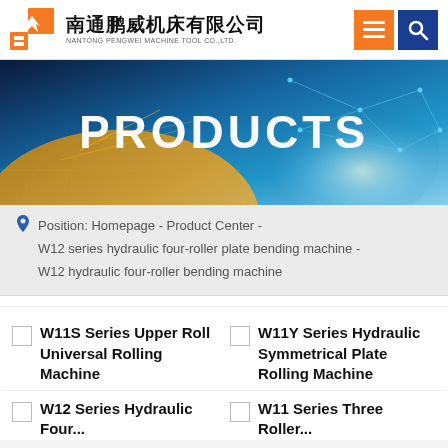南通鹏威机床有限公司 NANTONG PENGWEI MACHINE TOOL CO.,LTD.
[Figure (illustration): Banner image with earth/globe and network lines in space, overlaid with PRODUCTS text in white]
Position: Homepage - Product Center - W12 series hydraulic four-roller plate bending machine - W12 hydraulic four-roller bending machine
W11S Series Upper Roll Universal Rolling Machine
W11Y Series Hydraulic Symmetrical Plate Rolling Machine
W12 Series Hydraulic Four...
W11 Series Three Roller...